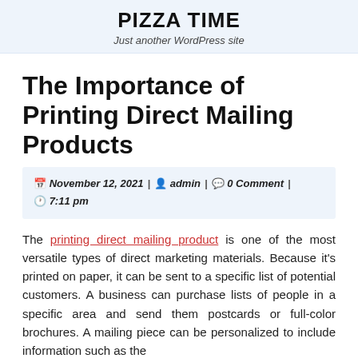PIZZA TIME
Just another WordPress site
The Importance of Printing Direct Mailing Products
November 12, 2021 | admin | 0 Comment | 7:11 pm
The printing direct mailing product is one of the most versatile types of direct marketing materials. Because it's printed on paper, it can be sent to a specific list of potential customers. A business can purchase lists of people in a specific area and send them postcards or full-color brochures. A mailing piece can be personalized to include information such as the